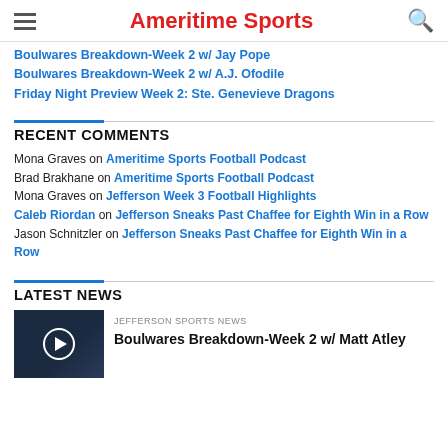Ameritime Sports
Boulwares Breakdown-Week 2 w/ Jay Pope
Boulwares Breakdown-Week 2 w/ A.J. Ofodile
Friday Night Preview Week 2: Ste. Genevieve Dragons
RECENT COMMENTS
Mona Graves on Ameritime Sports Football Podcast
Brad Brakhane on Ameritime Sports Football Podcast
Mona Graves on Jefferson Week 3 Football Highlights
Caleb Riordan on Jefferson Sneaks Past Chaffee for Eighth Win in a Row
Jason Schnitzler on Jefferson Sneaks Past Chaffee for Eighth Win in a Row
LATEST NEWS
JEFFERSON SPORTS NEWS
Boulwares Breakdown-Week 2 w/ Matt Atley